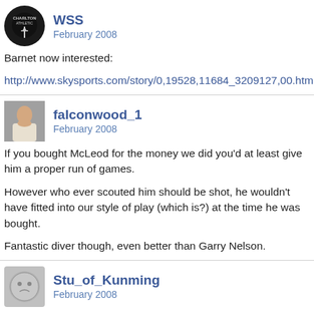WSS
February 2008
Barnet now interested:
http://www.skysports.com/story/0,19528,11684_3209127,00.html
falconwood_1
February 2008
If you bought McLeod for the money we did you'd at least give him a proper run of games.

However who ever scouted him should be shot, he wouldn't have fitted into our style of play (which is?) at the time he was bought.

Fantastic diver though, even better than Garry Nelson.
Stu_of_Kunming
February 2008
It's hard to give a player a run of games when you have dick fans that boo his every touch, all that's doing is making his confidence even worse.